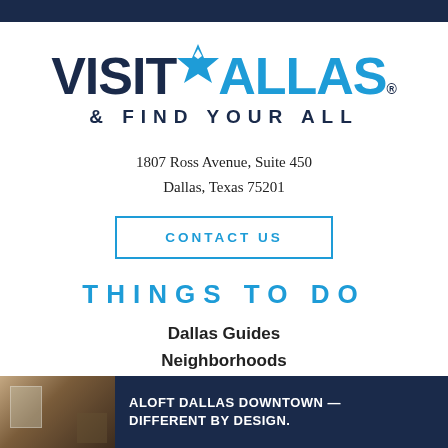[Figure (logo): Visit Dallas logo with star icon — 'VISIT' in dark navy, 'DALLAS' in blue with a star replacing the D]
& FIND YOUR ALL
1807 Ross Avenue, Suite 450
Dallas, Texas 75201
CONTACT US
THINGS TO DO
Dallas Guides
Neighborhoods
[Figure (photo): Advertisement banner: Aloft Dallas Downtown hotel room photo on left; dark navy background with text 'ALOFT DALLAS DOWNTOWN — DIFFERENT BY DESIGN.' on right]